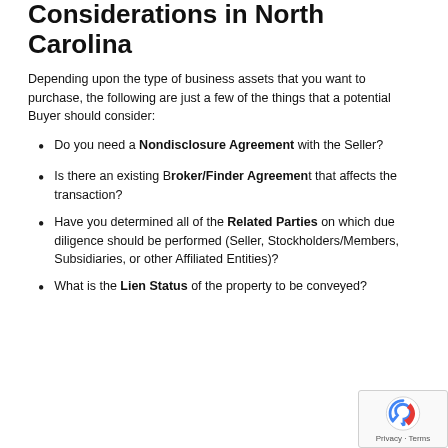Considerations in North Carolina
Depending upon the type of business assets that you want to purchase, the following are just a few of the things that a potential Buyer should consider:
Do you need a Nondisclosure Agreement with the Seller?
Is there an existing Broker/Finder Agreement that affects the transaction?
Have you determined all of the Related Parties on which due diligence should be performed (Seller, Stockholders/Members, Subsidiaries, or other Affiliated Entities)?
What is the Lien Status of the property to be conveyed?